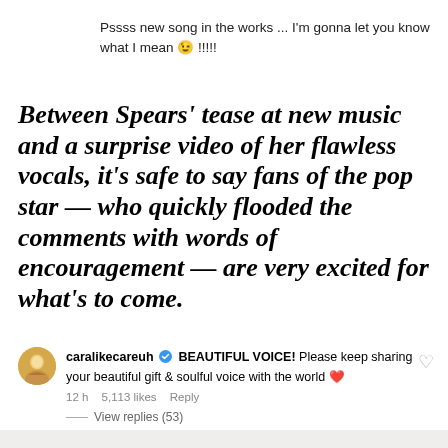Pssss new song in the works ... I'm gonna let you know what I mean 😉 !!!!!
Between Spears' tease at new music and a surprise video of her flawless vocals, it's safe to say fans of the pop star — who quickly flooded the comments with words of encouragement — are very excited for what's to come.
caralikecareuh BEAUTIFUL VOICE! Please keep sharing your beautiful gift & soulful voice with the world ❤ 12 h  5,113 likes  Reply  View replies (53)